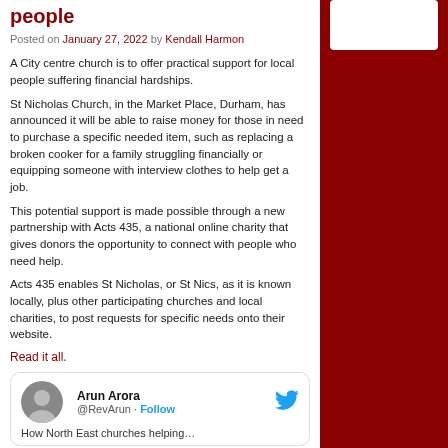people
Posted on January 27, 2022 by Kendall Harmon
A City centre church is to offer practical support for local people suffering financial hardships.
St Nicholas Church, in the Market Place, Durham, has announced it will be able to raise money for those in need to purchase a specific needed item, such as replacing a broken cooker for a family struggling financially or equipping someone with interview clothes to help get a job.
This potential support is made possible through a new partnership with Acts 435, a national online charity that gives donors the opportunity to connect with people who need help.
Acts 435 enables St Nicholas, or St Nics, as it is known locally, plus other participating churches and local charities, to post requests for specific needs onto their website.
Read it all.
[Figure (other): Embedded tweet card from Arun Arora (@RevArun) with Follow button and Twitter bird logo, with partial tweet preview text about North East churches.]